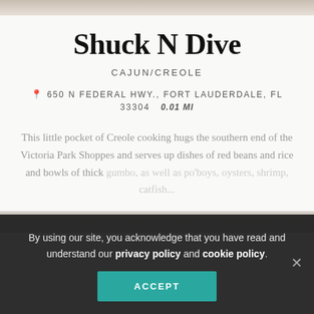[Figure (photo): Top decorative strip with muted brownish gradient, partial image visible]
Shuck N Dive
CAJUN/CREOLE
📍 650 N FEDERAL HWY., FORT LAUDERDALE, FL 33304   0.01 MI
This little pocket of Creole cooking hugs the southern end of the Victoria Park Shoppes and serves up dishes of red beans and rice and bowls of thick gumbo, as well as po'boys, oysters, shrimp, catfish...
[Figure (photo): Partial restaurant photo strip at the bottom of main content]
By using our site, you acknowledge that you have read and understand our privacy policy and cookie policy.
ACCEPT